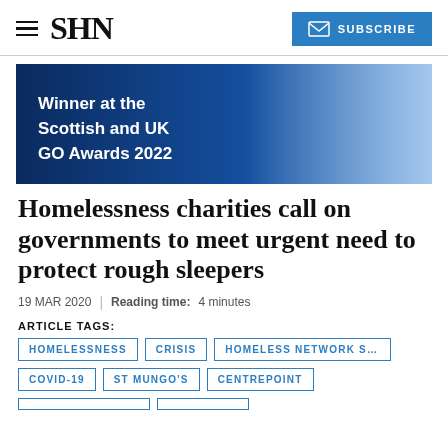SHN | SUBSCRIBE
[Figure (illustration): Dark blue gradient banner with white bold text reading 'Winner at the Scottish and UK GO Awards 2022']
Homelessness charities call on governments to meet urgent need to protect rough sleepers
19 MAR 2020 | Reading time: 4 minutes
ARTICLE TAGS:
HOMELESSNESS | CRISIS | HOMELESS NETWORK SCOT... | COVID-19 | ST MUNGO'S | CENTREPOINT